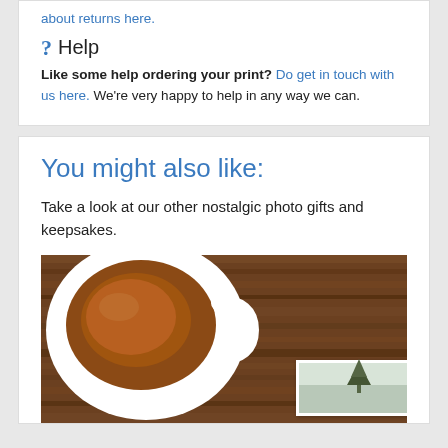about returns here.
? Help
Like some help ordering your print? Do get in touch with us here. We're very happy to help in any way we can.
You might also like:
Take a look at our other nostalgic photo gifts and keepsakes.
[Figure (photo): Overhead photo of a white mug filled with coffee/hot chocolate on a dark wooden table surface, with a small printed photo partially visible in the lower right corner]